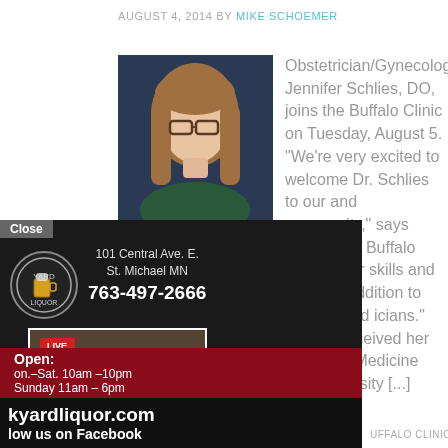AUGUST 4, 2014 BY MIKE SCHOEMER
[Figure (photo): Headshot photo of Jennifer Schlies, DO, a woman with long brown hair and glasses, against a dark blue background]
Obstetrician/Gynecologist Jennifer Schlies, DO, joins the Buffalo Clinic on Tuesday, August 5. "We're very excited to welcome Dr. Schlies to our and community," says Douglas of Buffalo Clinic. "Her skills and a strong addition to our talented icians." Schlies received her teopathic Medicine from Des rsity [...]
[Figure (photo): Advertisement overlay for a liquor store: logo with beer mug, address 101 Central Ave. E., St. Michael MN, phone 763-497-2666, group photo of staff in blue hoodies, hours Open: Mon.–Sat. 10am–10pm, Sunday 11am–6pm, website kyardliquor.com, follow us on Facebook]
BUFFALO CLINIC, OBSTETRICIAN, SCHLIES